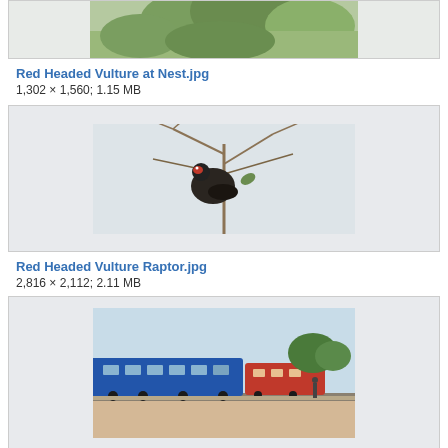[Figure (photo): Partial image of a bird in tree foliage at top of page]
Red Headed Vulture at Nest.jpg
1,302 × 1,560; 1.15 MB
[Figure (photo): Red Headed Vulture perched in bare tree branches]
Red Headed Vulture Raptor.jpg
2,816 × 2,112; 2.11 MB
[Figure (photo): Train at a railway station platform]